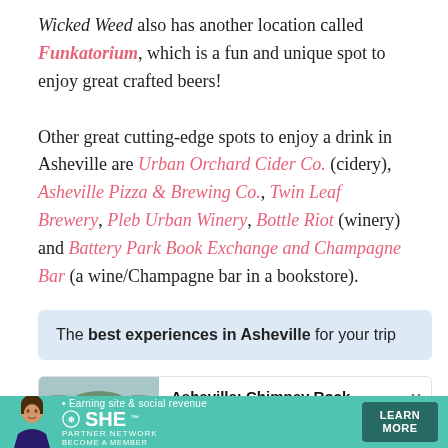Wicked Weed also has another location called Funkatorium, which is a fun and unique spot to enjoy great crafted beers!
Other great cutting-edge spots to enjoy a drink in Asheville are Urban Orchard Cider Co. (cidery), Asheville Pizza & Brewing Co., Twin Leaf Brewery, Pleb Urban Winery, Bottle Riot (winery) and Battery Park Book Exchange and Champagne Bar (a wine/Champagne bar in a bookstore).
The best experiences in Asheville for your trip
Asheville: Chimney Rock Helicopter Tour
[Figure (photo): Aerial photo of a river winding through forested landscape, likely near Chimney Rock.]
[Figure (infographic): SHE Partner Network advertisement banner with teal background, a woman's photo, text 'Earning site & social revenue', SHE logo, PARTNER NETWORK, BECOME A MEMBER, and LEARN MORE button.]